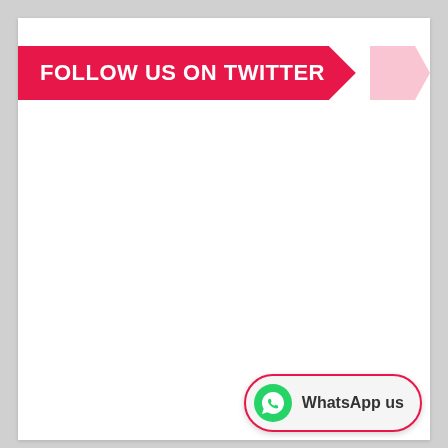FOLLOW US ON TWITTER
[Figure (infographic): WhatsApp us widget with WhatsApp icon and text 'WhatsApp us']